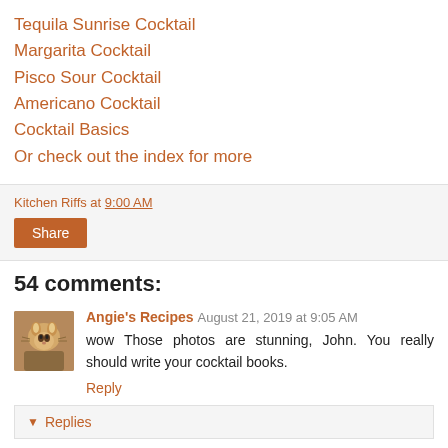Tequila Sunrise Cocktail
Margarita Cocktail
Pisco Sour Cocktail
Americano Cocktail
Cocktail Basics
Or check out the index for more
Kitchen Riffs at 9:00 AM
Share
54 comments:
[Figure (photo): Small avatar photo of a cat or animal]
Angie's Recipes August 21, 2019 at 9:05 AM
wow Those photos are stunning, John. You really should write your cocktail books.
Reply
Replies